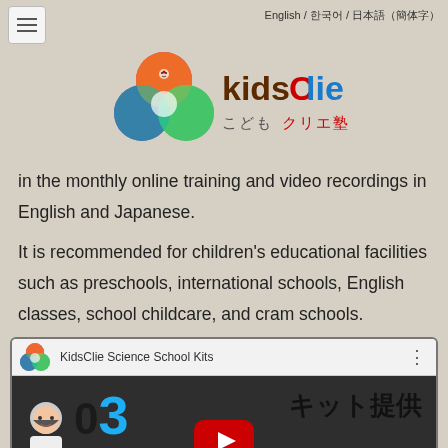English / 한국어 / 日本語（簡体字）
[Figure (logo): KidsClie こどもクリエ塾 logo with colorful overlapping circles (red, blue, magenta, green, yellow) forming smiley faces]
in the monthly online training and video recordings in English and Japanese.
It is recommended for children's educational facilities such as preschools, international schools, English classes, school childcare, and cram schools.
[Figure (screenshot): YouTube video thumbnail for KidsClie Science School Kits showing '03 キット提供' with a YouTube play button and Japanese text '初期教材は KidsClie が手配']